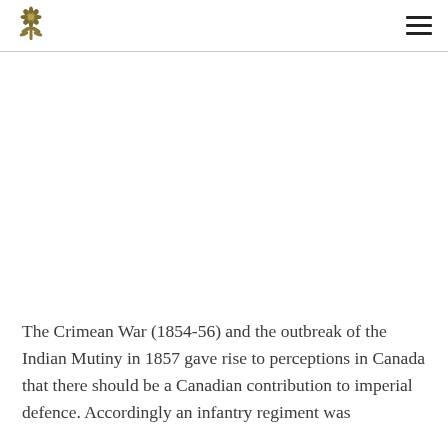[Logo icon] [Navigation menu]
The Crimean War (1854-56) and the outbreak of the Indian Mutiny in 1857 gave rise to perceptions in Canada that there should be a Canadian contribution to imperial defence. Accordingly an infantry regiment was